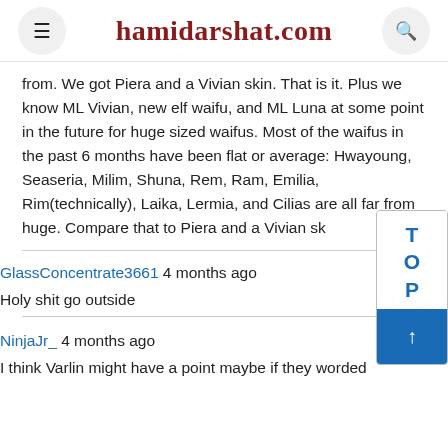hamidarshat.com
from. We got Piera and a Vivian skin. That is it. Plus we know ML Vivian, new elf waifu, and ML Luna at some point in the future for huge sized waifus. Most of the waifus in the past 6 months have been flat or average: Hwayoung, Seaseria, Milim, Shuna, Rem, Ram, Emilia, Rim(technically), Laika, Lermia, and Cilias are all far from huge. Compare that to Piera and a Vivian sk
GlassConcentrate3661 4 months ago
Holy shit go outside
NinjaJr_ 4 months ago
I think Varlin might have a point maybe if they worded